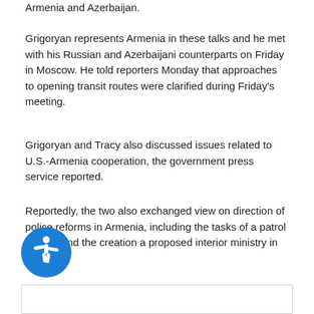Armenia and Azerbaijan.
Grigoryan represents Armenia in these talks and he met with his Russian and Azerbaijani counterparts on Friday in Moscow. He told reporters Monday that approaches to opening transit routes were clarified during Friday's meeting.
Grigoryan and Tracy also discussed issues related to U.S.-Armenia cooperation, the government press service reported.
Reportedly, the two also exchanged view on direction of police reforms in Armenia, including the tasks of a patrol service and the creation a proposed interior ministry in Armenia.